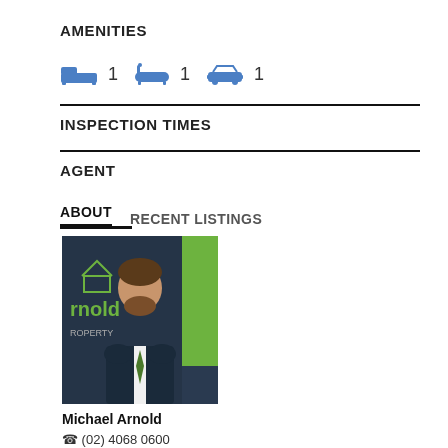AMENITIES
bed icon 1  bath icon 1  car icon 1
INSPECTION TIMES
AGENT
ABOUT   RECENT LISTINGS
[Figure (photo): Headshot photo of Michael Arnold, a real estate agent with brown curly hair and beard, wearing a suit with a green striped tie, in front of an Arnold Property branded backdrop]
Michael Arnold
(02) 4068 0600